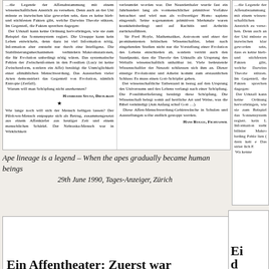Column 1: ...die Legende der Affenabstammung mit einem wissenschaftlichen Anstrich zu versehen. Denn auch an der Uni müsste es inzwischen klar geworden sein, dass es keine hieb- und stichfesten Fakten gibt, welche Darwins Theorie stützen. Im Gegenteil, die Fakten sprechen dagegen: Der Urknall kann keine Ordnung hervorbringen, wie sie zum Beispiel das Sonnensystem regiert. Die Ursuppe kann kein Leben entwickeln, denn dazu ist viel Information nötig. Information aber entsteht nur durch eine Intelligenz. Die Stabilisierungsmechanismen verhindern Makromutationen, die für Evolution unbedingt nötig wären. Das systematische Fehlen der Zwischenformen in den Fossilien (Lucy ist keine Zwischenform, sondern ein Affe) bestätigt die Unmöglichkeit einer allmählichen Menschwerdung. Das Aussterben vieler Arten demonstriert das Gegenteil von Evolution, nämlich Entropie (Zerfall). Warum will man Schöpfung nicht anerkennen? HANSRUEDI STUTZ, DIETLIKON ★ Wie lange noch will sich der Mensch belügen lassen? Der Piltdown-Mensch entpuppte sich als Betrug, zusammengesetzt aus einem Affenkiefer aus heutiger Zeit und einem menschlichen Schädel. Der Nebraska-Mensch war in Wirklichkeit
Column 2: verleumdet worden war. Der Neanderthaler wurde fast ein Jahrhundert lang als vormenschlicher primitiver Vorfahre betrachtet und wird nun als vollwertiger Homo sapiens eingestuft. Seine sogenannten primitiven Merkmale waren krankheitsbedingt und auf Rachitis und Arthritis zurückzuführen. Sir Fred Hoyle, Mathematiker, Astronom und einer der prominentesten britischen Wissenschaftler, lehnt nach eingehenden Studien nicht nur die Vorstellung einer Evolution des Lebens entschieden ab, sondern vertritt auch den Standpunkt, dass die Theorie des Urknalls als Ursprung des Weltalls wissenschaftlich unhaltbar ist. Viele bedeutende Wissenschaftler der Neuzeit schliessen sich ihm an. Dieser einstige Evolutionist und Atheist kommt zum erstaunlichen Schluss: Es muss einen Gott-Schöpfer geben. Der wissenschaftliche Tatbestand in bezug auf den Ursprung des Universums und des Lebens verlangt nach einer Schöpfung. Die Fossilüberlieferung bestätigt diese Schöpfung. Die Wissenschaft belegt somit auf herrliche Art und Weise, was die Bibel verkündigt (Am Anfang schuf Gott…). Diese Affen-Menschwerdung-Gehirnwäsche in Schulen und Ausstellungen sollte endlich gestoppt werden. HANS RUGGU, FICHTASWIL
Ape lineage is a legend – When the apes gradually became human beings
29th June 1990, Tages-Anzeiger, Zürich
Ein Affentheater: Zuerst war